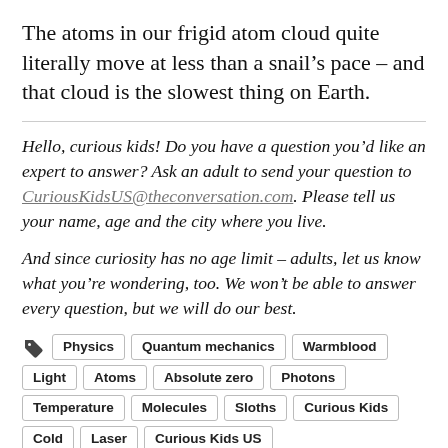The atoms in our frigid atom cloud quite literally move at less than a snail’s pace – and that cloud is the slowest thing on Earth.
Hello, curious kids! Do you have a question you’d like an expert to answer? Ask an adult to send your question to CuriousKidsUS@theconversation.com. Please tell us your name, age and the city where you live.
And since curiosity has no age limit – adults, let us know what you’re wondering, too. We won’t be able to answer every question, but we will do our best.
Physics
Quantum mechanics
Warmblood
Light
Atoms
Absolute zero
Photons
Temperature
Molecules
Sloths
Curious Kids
Cold
Laser
Curious Kids US